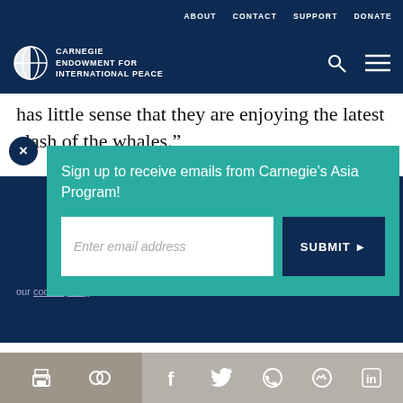ABOUT   CONTACT   SUPPORT   DONATE
[Figure (logo): Carnegie Endowment for International Peace logo with globe icon and text: CARNEGIE ENDOWMENT FOR INTERNATIONAL PEACE]
has little sense that they are enjoying the latest clash of the whales.”
Sign up to receive emails from Carnegie’s Asia Program!
Enter email address
SUBMIT ►
our cookie policy.
[Figure (screenshot): Social share bar with print, copy link, Facebook, Twitter, WhatsApp, Messenger, and LinkedIn icons]